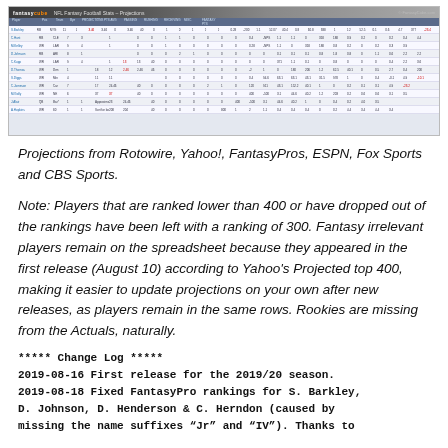[Figure (screenshot): Screenshot of NFL Fantasy Football Stats Projections spreadsheet from FantasyCube.com showing player projections from multiple sources]
Projections from Rotowire, Yahoo!, FantasyPros, ESPN, Fox Sports and CBS Sports.
Note: Players that are ranked lower than 400 or have dropped out of the rankings have been left with a ranking of 300. Fantasy irrelevant players remain on the spreadsheet because they appeared in the first release (August 10) according to Yahoo’s Projected top 400, making it easier to update projections on your own after new releases, as players remain in the same rows. Rookies are missing from the Actuals, naturally.
***** Change Log *****
2019-08-16 First release for the 2019/20 season.
2019-08-18 Fixed FantasyPro rankings for S. Barkley, D. Johnson, D. Henderson & C. Herndon (caused by missing the name suffixes “Jr” and “IV”). Thanks to